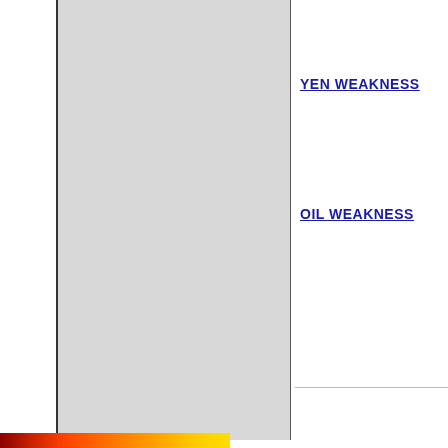[Figure (other): Large gray rectangle panel occupying the left portion of the page, with dark left and right borders]
YEN WEAKNESS
OIL WEAKNESS
[Figure (other): Horizontal color gradient bar at bottom of page, ranging from dark red/orange to yellow]